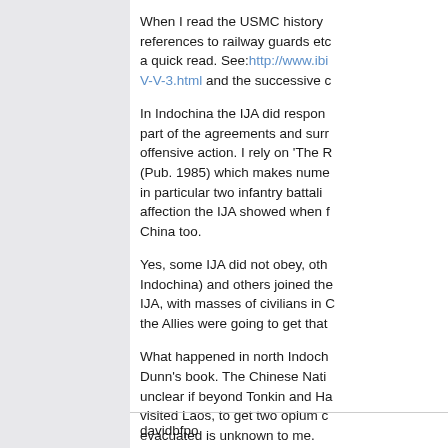When I read the USMC history references to railway guards etc a quick read. See: http://www.ibi V-V-3.html and the successive c

In Indochina the IJA did respond part of the agreements and surr offensive action. I rely on 'The R (Pub. 1985) which makes numer in particular two infantry battalio affection the IJA showed when f China too.

Yes, some IJA did not obey, oth Indochina) and others joined the IJA, with masses of civilians in C the Allies were going to get that

What happened in north Indoch Dunn's book. The Chinese Nati unclear if beyond Tonkin and Ha visited Laos, to get two opium c evacuated is unknown to me.
davidbfpo